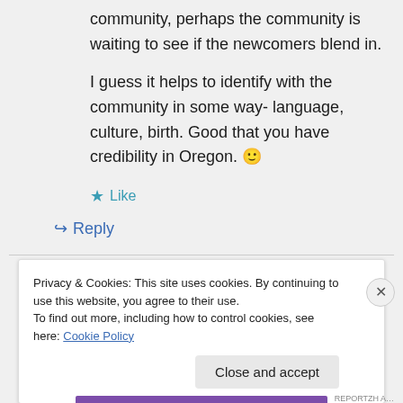community, perhaps the community is waiting to see if the newcomers blend in.

I guess it helps to identify with the community in some way- language, culture, birth. Good that you have credibility in Oregon. 🙂
★ Like
↪ Reply
Privacy & Cookies: This site uses cookies. By continuing to use this website, you agree to their use.
To find out more, including how to control cookies, see here: Cookie Policy
Close and accept